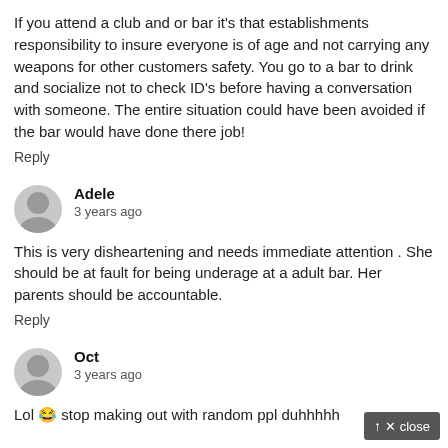If you attend a club and or bar it's that establishments responsibility to insure everyone is of age and not carrying any weapons for other customers safety. You go to a bar to drink and socialize not to check ID's before having a conversation with someone. The entire situation could have been avoided if the bar would have done there job!
Reply
Adele
3 years ago
This is very disheartening and needs immediate attention . She should be at fault for being underage at a adult bar. Her parents should be accountable.
Reply
Oct
3 years ago
Lol 😂 stop making out with random ppl duhhhhh